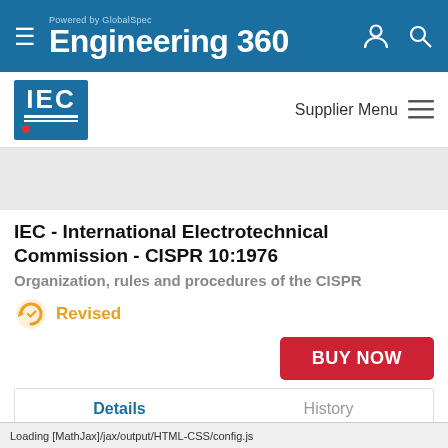Engineering 360 — Powered by GlobalSpec
[Figure (logo): IEC logo — blue square with white IEC text and underline]
Supplier Menu
IEC - International Electrotechnical Commission - CISPR 10:1976
Organization, rules and procedures of the CISPR
Revised
BUY NOW
Details	History
IEC - International Electrotechnical
Loading [MathJax]/jax/output/HTML-CSS/config.js